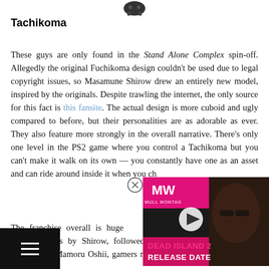[Figure (illustration): Small dark robot/spider icon at top center]
Tachikoma
These guys are only found in the Stand Alone Complex spin-off. Allegedly the original Fuchikoma design couldn't be used due to legal copyright issues, so Masamune Shirow drew an entirely new model, inspired by the originals. Despite trawling the internet, the only source for this fact is this fansite. The actual design is more cuboid and ugly compared to before, but their personalities are as adorable as ever. They also feature more strongly in the overall narrative. There's only one level in the PS2 game where you control a Tachikoma but you can't make it walk on its own — you constantly have one as an asset and can ride around inside it when you choose.
[Figure (screenshot): Video overlay: MW logo (pink/magenta) with a person in sunglasses, Dead Island 2 Release Date promotional video thumbnail with play button]
The franchise overall is huge. There are volumes of the original series by Shirow, followed by film adaptations of these volumes by Mamoru Oshii, gamers may recognise as the guy behind the